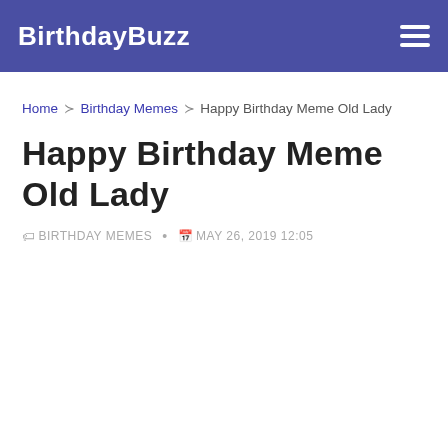BirthdayBuzz
Home ~ Birthday Memes ~ Happy Birthday Meme Old Lady
Happy Birthday Meme Old Lady
BIRTHDAY MEMES • MAY 26, 2019 12:05